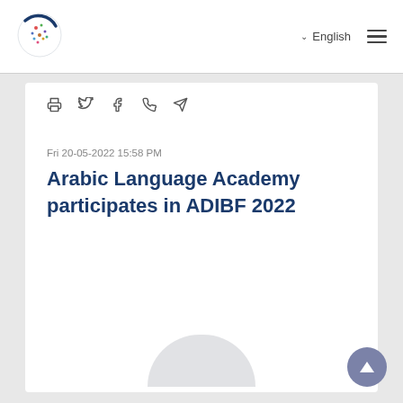English
[Figure (logo): Circular globe logo with colorful dots and dark blue arc]
🖨 🐦 f ⊙ ✈
Fri 20-05-2022 15:58 PM
Arabic Language Academy participates in ADIBF 2022
[Figure (photo): Partially visible image placeholder showing rounded arch shape at bottom of content area]